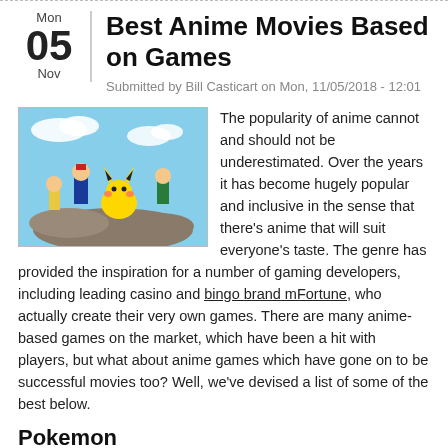Best Anime Movies Based on Games
Submitted by Bill Casticart on Mon, 11/05/2018 - 12:01
[Figure (photo): Anime characters from Pokemon including Ash, Pikachu, and other characters standing on rocks outdoors]
The popularity of anime cannot and should not be underestimated. Over the years it has become hugely popular and inclusive in the sense that there's anime that will suit everyone's taste. The genre has provided the inspiration for a number of gaming developers, including leading casino and bingo brand mFortune, who actually create their very own games. There are many anime-based games on the market, which have been a hit with players, but what about anime games which have gone on to be successful movies too? Well, we've devised a list of some of the best below.
Pokemon